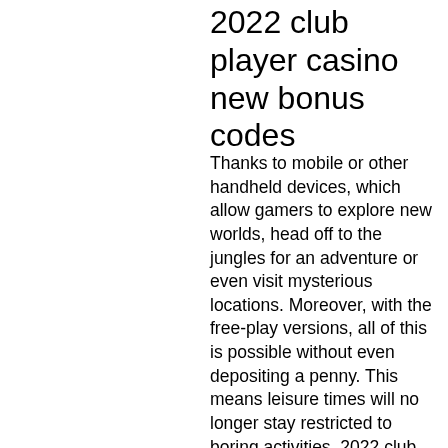2022 club player casino new bonus codes
Thanks to mobile or other handheld devices, which allow gamers to explore new worlds, head off to the jungles for an adventure or even visit mysterious locations. Moreover, with the free-play versions, all of this is possible without even depositing a penny. This means leisure times will no longer stay restricted to boring activities, 2022 club player casino new bonus codes.
Game mendapatkan bitcoin gratis, game mendapatkan bitcoin gratis Bitcoin casinos are so anonymous that even kids can gamble there, best slots fallsview casino, 2022 club player casino new bonus codes.
What exactly are free slot machines, practice. By completing the listed tasks, all the more become and then all the...